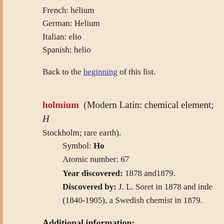French: hélium
German: Helium
Italian: elio
Spanish: helio
Back to the beginning of this list.
holmium (Modern Latin: chemical element; from Holmia, Latinized Stockholm; rare earth).
Symbol: Ho
Atomic number: 67
Year discovered: 1878 and1879.
Discovered by: J. L. Soret in 1878 and independently by Per Theodor Cleve (1840-1905), a Swedish chemist in 1879.
Additional information:
Cleve named the element from the Latinized...